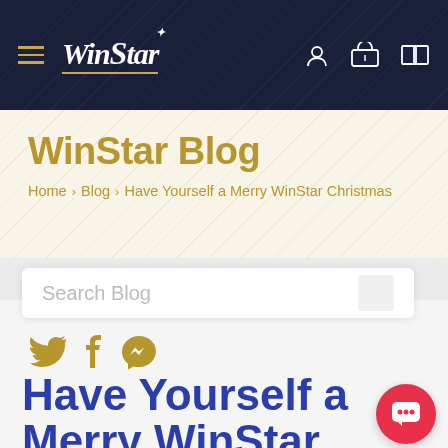WinStar (navigation bar with hamburger menu, WinStar logo, and icons for account, hotel, and map)
WinStar Blog
Home › Blog › Have Yourself a Merry WinStar Christmas
Search Blog
[Figure (other): Social media icons: Twitter, Facebook, and Messenger in gold color]
Have Yourself a Merry WinStar
[Figure (other): WinBot chat popup showing a robot avatar icon on dark navy circle, a close X button, and text: Hi, I'm WinBot! Have a question? I'm here to help.]
[Figure (other): Red circular chat bubble button in lower right corner]